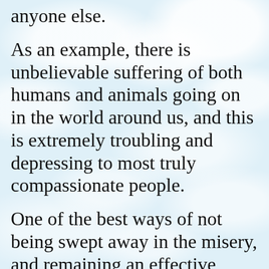anyone else.
As an example, there is unbelievable suffering of both humans and animals going on in the world around us, and this is extremely troubling and depressing to most truly compassionate people.
One of the best ways of not being swept away in the misery, and remaining an effective servant of